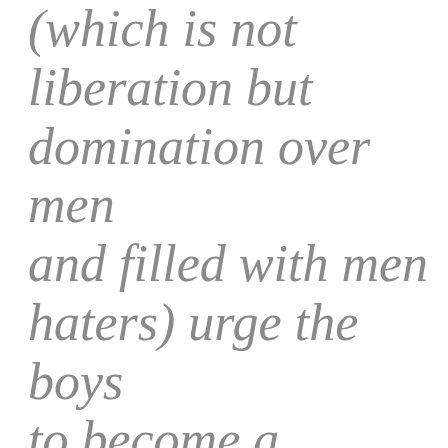(which is not liberation but domination over men and filled with men haters) urge the boys to become a woman? Accept the manner in